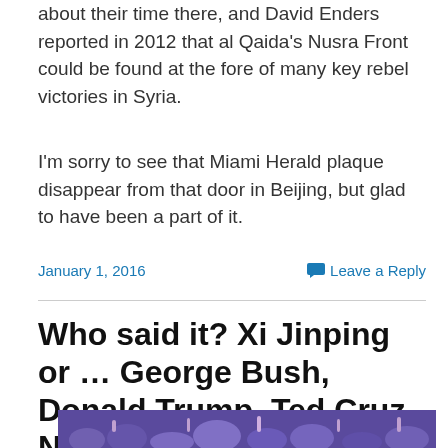about their time there, and David Enders reported in 2012 that al Qaida's Nusra Front could be found at the fore of many key rebel victories in Syria.
I'm sorry to see that Miami Herald plaque disappear from that door in Beijing, but glad to have been a part of it.
January 1, 2016
Leave a Reply
Who said it? Xi Jinping or … George Bush, Donald Trump, Ted Cruz, Nancy Pelosi or Henry Kissinger?
[Figure (photo): Crowd of people at an event, purple-toned background]